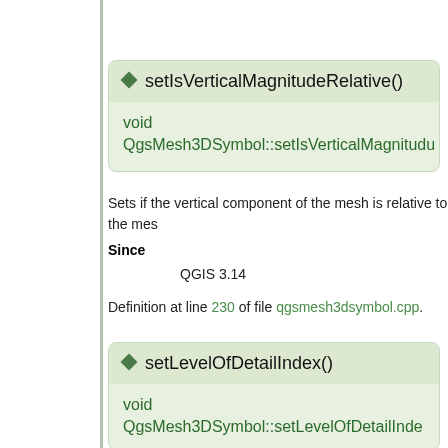setIsVerticalMagnitudeRelative()
void QgsMesh3DSymbol::setIsVerticalMagnitudeRelative
Sets if the vertical component of the mesh is relative to the mes
Since
QGIS 3.14
Definition at line 230 of file qgsmesh3dsymbol.cpp.
setLevelOfDetailIndex()
void QgsMesh3DSymbol::setLevelOfDetailInde